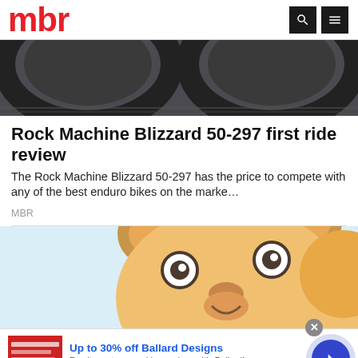mbr
[Figure (photo): Close-up photo of mountain bike tires on dark ground, showing tread pattern]
Rock Machine Blizzard 50-297 first ride review
The Rock Machine Blizzard 50-297 has the price to compete with any of the best enduro bikes on the marke…
MBR
[Figure (illustration): Cartoon illustration of a bear/animal character with a round face peeking from the bottom, light blue background]
Up to 30% off Ballard Designs
Furniture stores and home decor. It's Ballard!
ballarddesigns.com